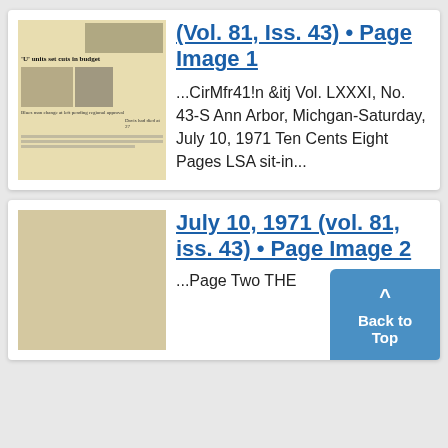[Figure (screenshot): Thumbnail of a newspaper front page from Ann Arbor, Michigan, July 10, 1971]
(Vol. 81, Iss. 43) • Page Image 1
...CirMfr41!n &itj Vol. LXXXI, No. 43-S Ann Arbor, Michgan-Saturday, July 10, 1971 Ten Cents Eight Pages LSA sit-in...
July 10, 1971 (vol. 81, iss. 43) • Page Image 2
...Page Two THE